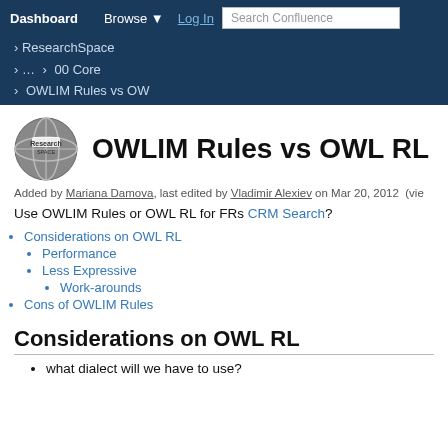Dashboard   Browse ▼   Log In   Search Confluence
› ResearchSpace
› … › 00 Core
› OWLIM Rules vs OW
OWLIM Rules vs OWL RL
Added by Mariana Damova, last edited by Vladimir Alexiev on Mar 20, 2012  (vie
Use OWLIM Rules or OWL RL for FRs CRM Search?
Considerations on OWL RL
Performance
Less Expressive
Work-arounds
Cons of OWLIM Rules
Considerations on OWL RL
what dialect will we have to use?